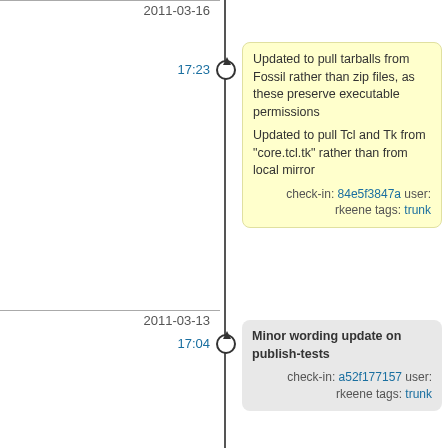2011-03-16
17:23
Updated to pull tarballs from Fossil rather than zip files, as these preserve executable permissions

Updated to pull Tcl and Tk from "core.tcl.tk" rather than from local mirror

check-in: 84e5f3847a user: rkeene tags: trunk
2011-03-13
17:04
Minor wording update on publish-tests
check-in: a52f177157 user: rkeene tags: trunk
16:54
Updated test page to include link to source code used for testing
check-in: f9f7abf1ba user: rkeene tags: trunk
2011-03-09
14:36
Added Linux/amd64 builds to test suite
check-in: 3075bde9af user: rkeene tags: trunk
14:36
Updated to build full Tclkit when cross-